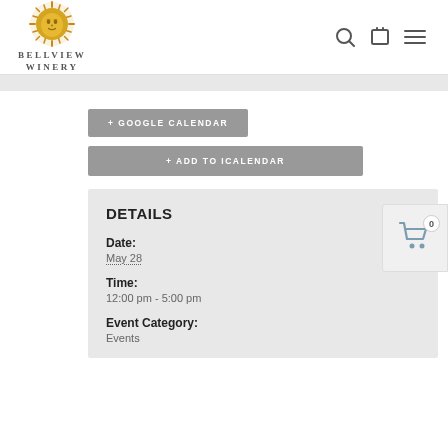[Figure (logo): Bellview Winery logo with golden sun face icon above the text BELLVIEW WINERY]
Bellview Winery
+ GOOGLE CALENDAR
+ ADD TO ICALENDAR
DETAILS
Date:
May 28
Time:
12:00 pm - 5:00 pm
Event Category:
Events